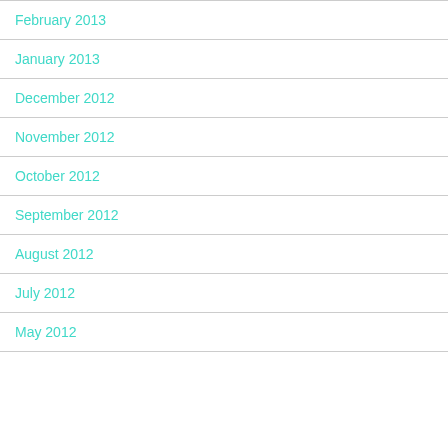February 2013
January 2013
December 2012
November 2012
October 2012
September 2012
August 2012
July 2012
May 2012